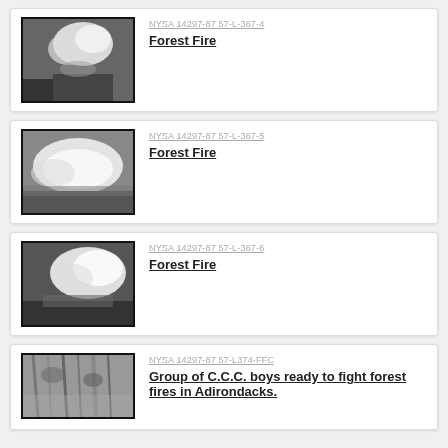[Figure (photo): Black and white photograph of a forest fire with smoke billowing upward, labeled NYSA 14297-87 57-L-367-4]
NYSA 14297-87 57-L-367-4
Forest Fire
[Figure (photo): Black and white photograph of a forest fire with large smoke cloud, labeled NYSA 14297-87 57-L-367-5]
NYSA 14297-87 57-L-367-5
Forest Fire
[Figure (photo): Black and white photograph of a forest fire with smoke, labeled NYSA 14297-87 57-L-367-6]
NYSA 14297-87 57-L-367-6
Forest Fire
[Figure (photo): Black and white photograph of CCC boys ready to fight forest fires in Adirondacks, labeled NYSA 14297-87 57-L374-FFC]
NYSA 14297-87 57-L374-FFC
Group of C.C.C. boys ready to fight forest fires in Adirondacks.